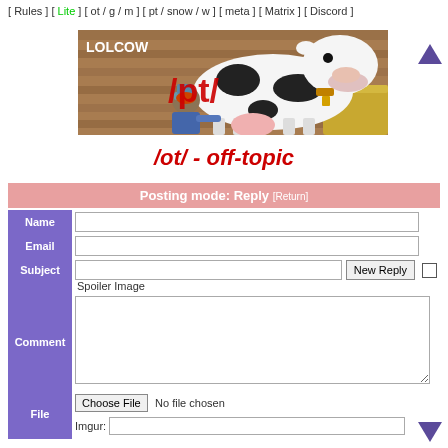[ Rules ] [ Lite ] [ ot / g / m ] [ pt / snow / w ] [ meta ] [ Matrix ] [ Discord ]
[Figure (illustration): Banner image showing a cartoon cow being milked by a person, with text 'LOLCOW' and '/pt/' overlaid in red]
/ot/ - off-topic
Posting mode: Reply [Return]
Name field, Email field, Subject field with New Reply button and Spoiler Image checkbox, Comment textarea, File chooser with No file chosen and Imgur input